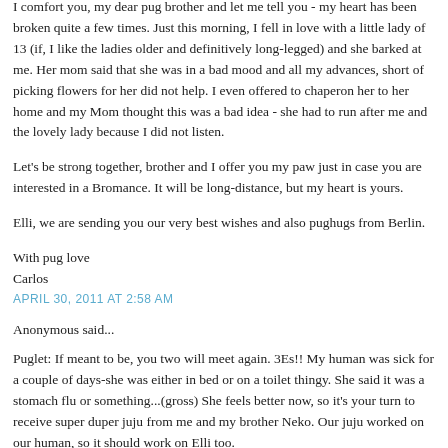so happy. She has found her forever home and people who love her.
I comfort you, my dear pug brother and let me tell you - my heart has been broken quite a few times. Just this morning, I fell in love with a little lady of 13 (if, I like the ladies older and definitively long-legged) and she barked at me. Her mom said that she was in a bad mood and all my advances, short of picking flowers for her did not help. I even offered to chaperon her to her home and my Mom thought this was a bad idea - she had to run after me and the lovely lady because I did not listen.
Let's be strong together, brother and I offer you my paw just in case you are interested in a Bromance. It will be long-distance, but my heart is yours.
Elli, we are sending you our very best wishes and also pughugs from Berlin.
With pug love
Carlos
APRIL 30, 2011 AT 2:58 AM
Anonymous said...
Puglet: If meant to be, you two will meet again. 3Es!! My human was sick for a couple of days-she was either in bed or on a toilet thingy. She said it was a stomach flu or something...(gross) She feels better now, so it's your turn to receive super duper juju from me and my brother Neko. Our juju worked on our human, so it should work on Elli too.